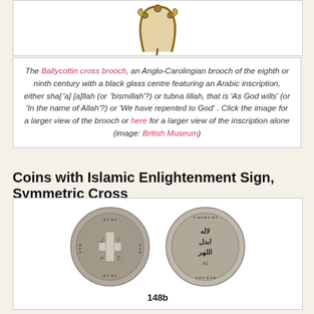[Figure (photo): Top portion of the Ballycottin cross brooch photo, showing the top part of an Anglo-Carolingian brooch with metalwork details]
The Ballycottin cross brooch, an Anglo-Carolingian brooch of the eighth or ninth century with a black glass centre featuring an Arabic inscription, either sha['a] [a]llah (or 'bismillah'?) or tubna lillah, that is 'As God wills' (or 'In the name of Allah'?) or 'We have repented to God' . Click the image for a larger view of the brooch or here for a larger view of the inscription alone (image: British Museum)
Coins with Islamic Enlightenment Sign, Symmetric Cross
[Figure (photo): Two ancient coins side by side labeled 148b. The left coin shows a symmetric cross design with Arabic inscriptions around the rim. The right coin shows Arabic script text.]